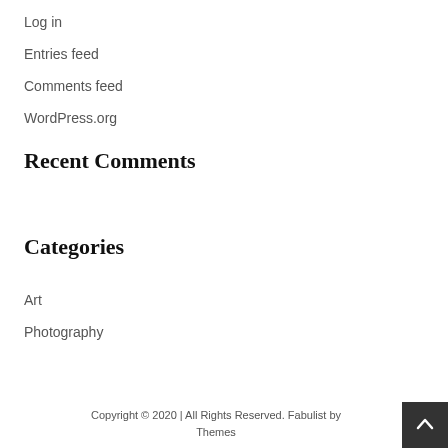Log in
Entries feed
Comments feed
WordPress.org
Recent Comments
Categories
Art
Photography
Copyright © 2020 | All Rights Reserved. Fabulist by Themes